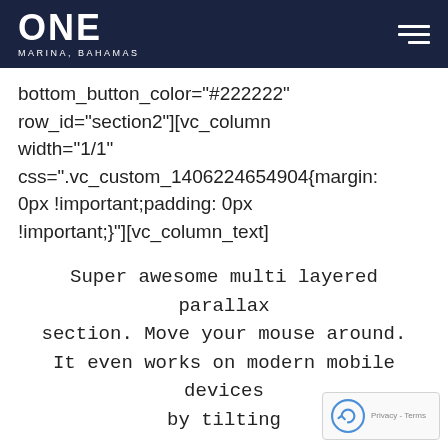ONE MARINA, BAHAMAS
bottom_button_color="#222222" row_id="section2"][vc_column width="1/1" css=".vc_custom_1406224654904{margin: 0px !important;padding: 0px !important;}"][vc_column_text]
Super awesome multi layered parallax section. Move your mouse around. It even works on modern mobile devices by tilting
[/vc_column_text][ozy_vc_parallaxbox height="800" color_animation="true"